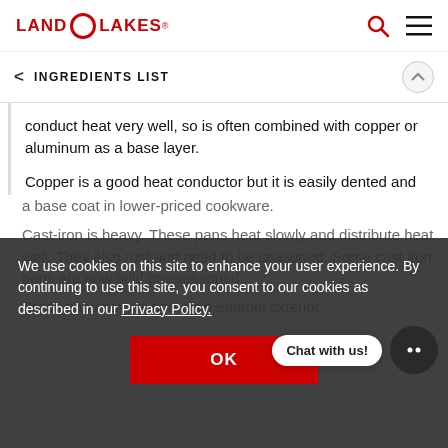LAND O LAKES
INGREDIENTS LIST
conduct heat very well, so is often combined with copper or aluminum as a base layer.
Copper is a good heat conductor but it is easily dented and tarnishes. It is often used as a base coat in lower-priced cookware.
Cast-iron is heavy. These pans heat slowly and distribute heat well. They also rust and need to be seasoned. Some cast iron pans are now sold pre-seasoned.
Some pans have a porcelain enamel exterior
We use cookies on this site to enhance your user experience. By continuing to use this site, you consent to our cookies as described in our Privacy Policy.